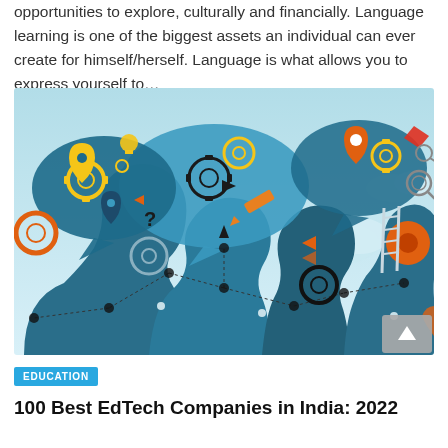opportunities to explore, culturally and financially. Language learning is one of the biggest assets an individual can ever create for himself/herself. Language is what allows you to express yourself to…
[Figure (illustration): Colorful illustration of stylized human head silhouettes in teal/blue with speech bubbles containing gears, icons, arrows, question marks, and social network nodes, representing language learning and communication ideas.]
EDUCATION
100 Best EdTech Companies in India: 2022